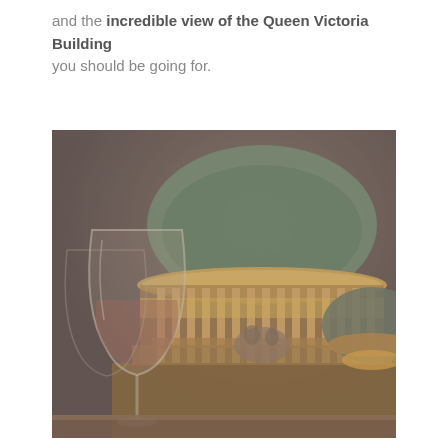and the incredible view of the Queen Victoria Building you should be going for.
[Figure (photo): A night-time photograph showing the illuminated dome of the Queen Victoria Building in Sydney, with warm golden lights highlighting the architectural details. A wine glass is visible in the foreground on the left, and a second smaller dome is visible on the right. The scene is dimly lit with a dark, moody atmosphere.]